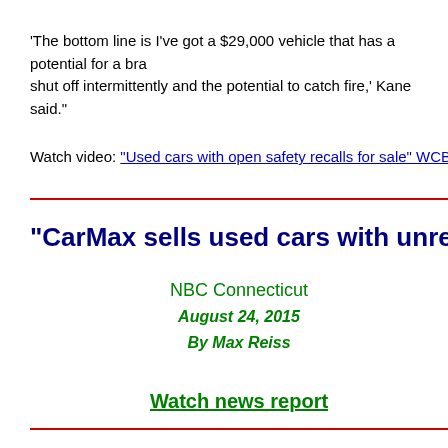'The bottom line is I've got a $29,000 vehicle that has a potential for a brake that can shut off intermittently and the potential to catch fire,' Kane said."
Watch video: "Used cars with open safety recalls for sale" WCBV -TV, Bo...
"CarMax sells used cars with unr...
NBC Connecticut
August 24, 2015
By Max Reiss
Watch news report
"Blumenthal: CarMax playing car...
WTNH-TV
August 24, 2015
By Mark Davis